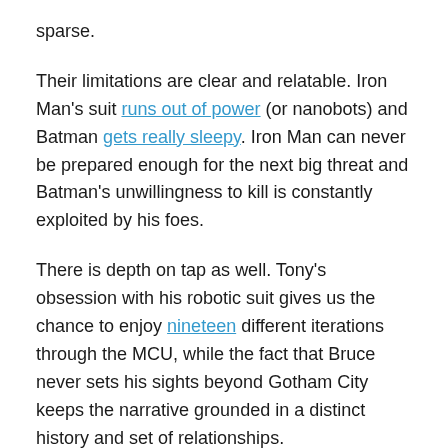sparse.
Their limitations are clear and relatable. Iron Man's suit runs out of power (or nanobots) and Batman gets really sleepy. Iron Man can never be prepared enough for the next big threat and Batman's unwillingness to kill is constantly exploited by his foes.
There is depth on tap as well. Tony's obsession with his robotic suit gives us the chance to enjoy nineteen different iterations through the MCU, while the fact that Bruce never sets his sights beyond Gotham City keeps the narrative grounded in a distinct history and set of relationships.
I note these things only to suggest why these two characters are effective when they are, in fact, effective.